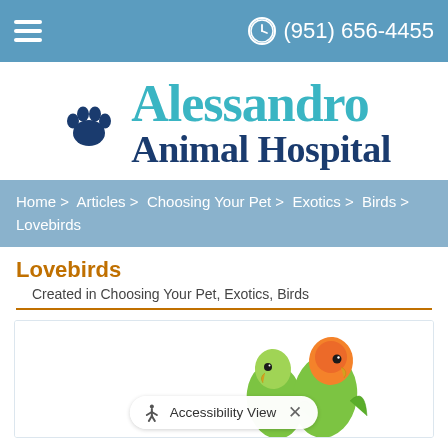(951) 656-4455
[Figure (logo): Alessandro Animal Hospital logo with paw print icon, teal 'Alessandro' text and dark blue 'Animal Hospital' text]
Home > Articles > Choosing Your Pet > Exotics > Birds > Lovebirds
Lovebirds
Created in Choosing Your Pet, Exotics, Birds
[Figure (photo): Two lovebirds (small green parrots, one with yellow/green coloring, one with green/orange-red face) on white background, partially visible]